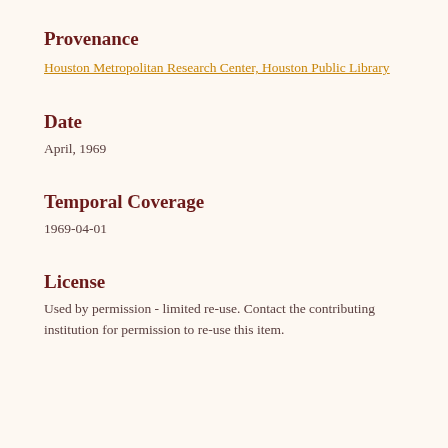Provenance
Houston Metropolitan Research Center, Houston Public Library
Date
April, 1969
Temporal Coverage
1969-04-01
License
Used by permission - limited re-use. Contact the contributing institution for permission to re-use this item.